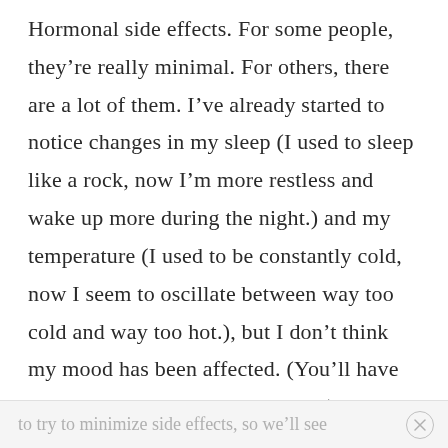Hormonal side effects. For some people, they're really minimal. For others, there are a lot of them. I've already started to notice changes in my sleep (I used to sleep like a rock, now I'm more restless and wake up more during the night.) and my temperature (I used to be constantly cold, now I seem to oscillate between way too cold and way too hot.), but I don't think my mood has been affected. (You'll have to ask Donnie about that one, lol.) I will be starting on a super low dose of hormone replacement soon
to try to minimize side effects, so we'll see